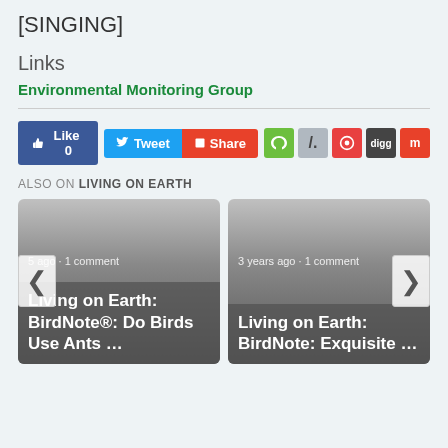[SINGING]
Links
Environmental Monitoring Group
[Figure (infographic): Social sharing buttons row: Like 0 (Facebook), Tweet + Share (Twitter), and icons for Tumblr, Slash, Reddit, Digg, Mix]
ALSO ON LIVING ON EARTH
[Figure (infographic): Two article cards side by side with left/right navigation arrows. Left card: '5 ago · 1 comment' and title 'Living on Earth: BirdNote®: Do Birds Use Ants …'. Right card: '3 years ago · 1 comment' and title 'Living on Earth: BirdNote: Exquisite …']